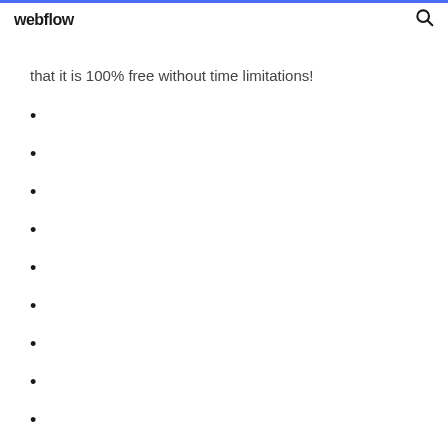webflow
that it is 100% free without time limitations!